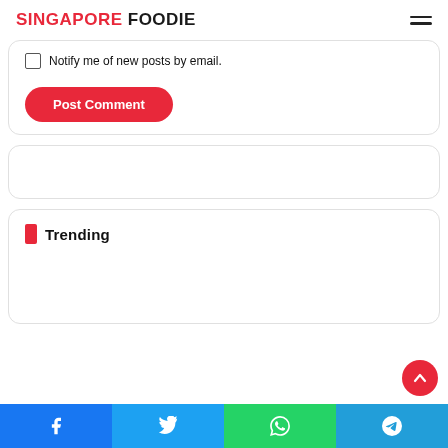SINGAPORE FOODIE
Notify me of new posts by email.
Post Comment
Trending
Facebook, Twitter, WhatsApp, Telegram social share buttons